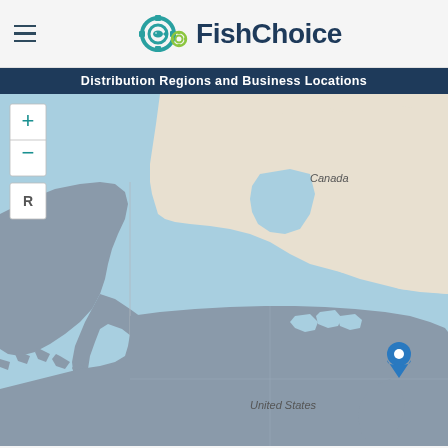FishChoice
Distribution Regions and Business Locations
[Figure (map): Interactive map showing Distribution Regions and Business Locations for FishChoice. Map displays North America including Canada and United States. Alaska and the continental United States are highlighted in gray indicating distribution regions. A blue location pin marker is placed on the eastern United States coast. Map includes zoom in (+), zoom out (-), and reset (R) controls on the left side.]